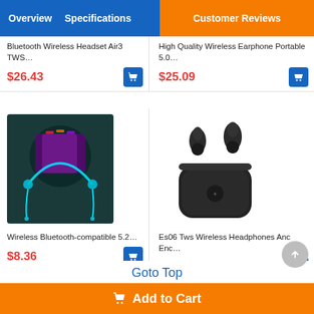Overview  Specifications  Customer Reviews
Bluetooth Wireless Headset Air3 TWS…
$26.43
High Quality Wireless Earphone Portable 5.0…
$25.09
[Figure (photo): Wireless Bluetooth neckband headphones product image with colorful LED lighting effect]
Wireless Bluetooth-compatible 5.2…
$8.36
[Figure (photo): Es06 TWS wireless earbuds with charging case, matte black]
Es06 Tws Wireless Headphones Anc Enc…
$18.04
Goto Top
Join Our Newsletter!
Add to Cart